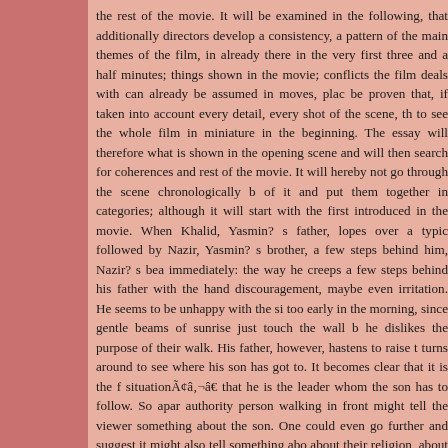the rest of the movie. It will be examined in the following, that additionally directors develop a consistency, a pattern of the main themes of the film, in already there in the very first three and a half minutes; things shown in the movie; conflicts the film deals with can already be assumed in moves, place be proven that, if taken into account every detail, every shot of the scene, th to see the whole film in miniature in the beginning. The essay will therefore what is shown in the opening scene and will then search for coherences and rest of the movie. It will hereby not go through the scene chronologically b of it and put them together in categories; although it will start with the first introduced in the movie. When Khalid, Yasmin? s father, lopes over a typic followed by Nazir, Yasmin? s brother, a few steps behind him, Nazir? s bea immediately: the way he creeps a few steps behind his father with the hand discouragement, maybe even irritation. He seems to be unhappy with the si too early in the morning, since gentle beams of sunrise just touch the wall b he dislikes the purpose of their walk. His father, however, hastens to raise t turns around to see where his son has got to. It becomes clear that it is the f situationÃ¢â‚¬â€ that he is the leader whom the son has to follow. So apar authority person walking in front might tell the viewer something about the son. One could even go further and suggest it might also tell something abo about their religion, about the way the head of the family is treated in the Is therefore implicates the parental respect of which is set value in this family. to Yasmin? s father Khalid becomes more and more clear during the course